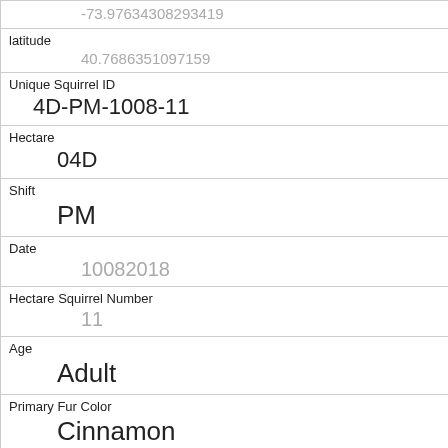| Field | Value |
| --- | --- |
| longitude | -73.97634308293419 |
| latitude | 40.7686351097159 |
| Unique Squirrel ID | 4D-PM-1008-11 |
| Hectare | 04D |
| Shift | PM |
| Date | 10082018 |
| Hectare Squirrel Number | 11 |
| Age | Adult |
| Primary Fur Color | Cinnamon |
| Highlight Fur Color | Gray, White |
| Combination of Primary and Highlight Color |  |